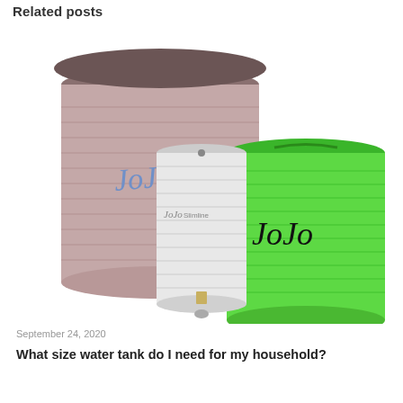Related posts
[Figure (photo): Three JoJo brand water storage tanks of different sizes and colors: a large taupe/mauve tank on the left with 'JoJo' logo, a slim white tank in the center with 'JoJo Slimline' text, and a large green tank on the right with 'JoJo' logo.]
September 24, 2020
What size water tank do I need for my household?